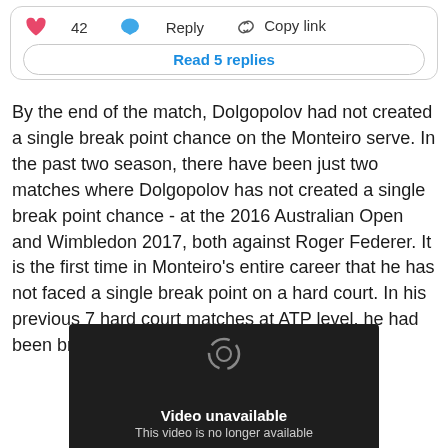[Figure (screenshot): Social media interaction bar showing a pink heart icon with '42' likes, a blue speech bubble 'Reply' button, and a 'Copy link' option with a chain-link icon.]
Read 5 replies
By the end of the match, Dolgopolov had not created a single break point chance on the Monteiro serve. In the past two season, there have been just two matches where Dolgopolov has not created a single break point chance - at the 2016 Australian Open and Wimbledon 2017, both against Roger Federer. It is the first time in Monteiro's entire career that he has not faced a single break point on a hard court. In his previous 7 hard court matches at ATP level, he had been broken no fewer than 31 times.
[Figure (screenshot): Dark video player showing 'Video unavailable' and 'This video is no longer available' text with a circular icon at the bottom.]